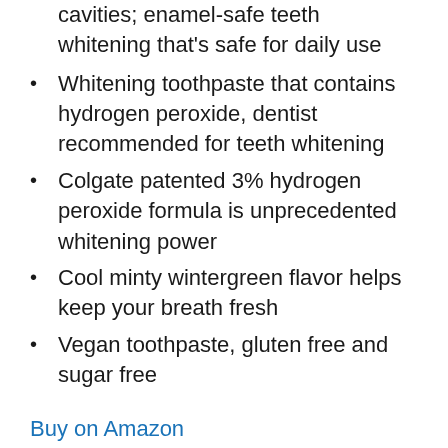cavities; enamel-safe teeth whitening that's safe for daily use
Whitening toothpaste that contains hydrogen peroxide, dentist recommended for teeth whitening
Colgate patented 3% hydrogen peroxide formula is unprecedented whitening power
Cool minty wintergreen flavor helps keep your breath fresh
Vegan toothpaste, gluten free and sugar free
Buy on Amazon
Best Seller #6